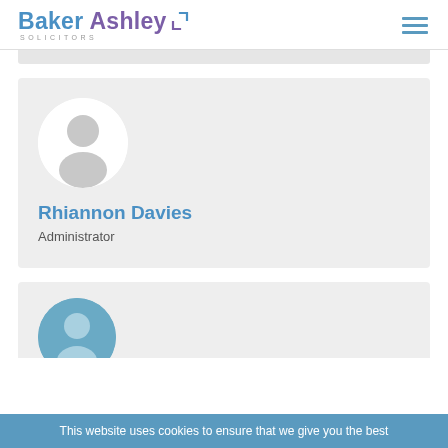Baker Ashley Solicitors
[Figure (logo): Baker Ashley Solicitors logo with blue and purple text and geometric bracket icon]
Rhiannon Davies
Administrator
[Figure (photo): Circular avatar placeholder with grey silhouette of a person]
[Figure (photo): Partial circular avatar in blue, second profile card cut off at bottom]
This website uses cookies to ensure that we give you the best